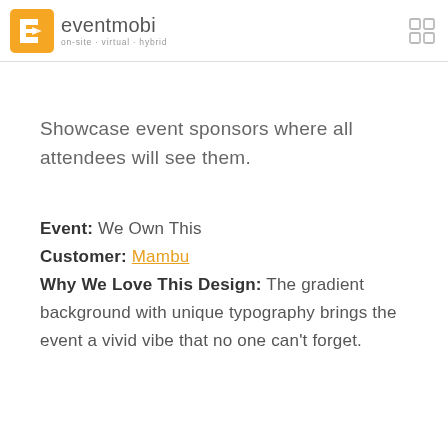eventmobi on-site · virtual · hybrid
Showcase event sponsors where all attendees will see them.
Event: We Own This
Customer: Mambu
Why We Love This Design: The gradient background with unique typography brings the event a vivid vibe that no one can't forget.